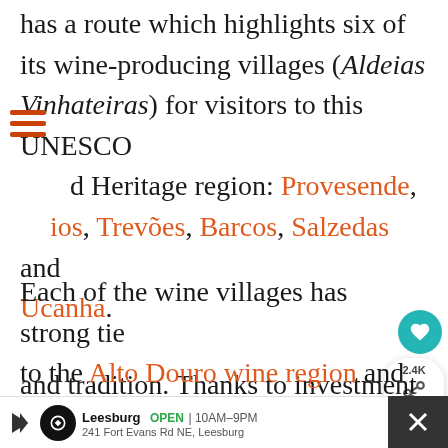has a route which highlights six of its wine-producing villages (Aldeias Vinhateiras) for visitors to this UNESCO World Heritage region: Provesende, Favaios, Trevões, Barcos, Salzedas and Ucanha.
Each of the wine villages has strong ties to the Alto Douro wine region and has something to offer in terms of culture and tradition. Thanks to investment from th...
[Figure (screenshot): UI overlay elements: hamburger menu icon, heart/save button (teal circle), share count 2.4K with share icon, 'What's Next' card showing 'Where To Stay In Douro...' with vineyard thumbnail]
[Figure (screenshot): Advertisement bar at bottom: Leesburg business ad with logo, OPEN 10AM-9PM, 241 Fort Evans Rd NE Leesburg, navigation button, close button]